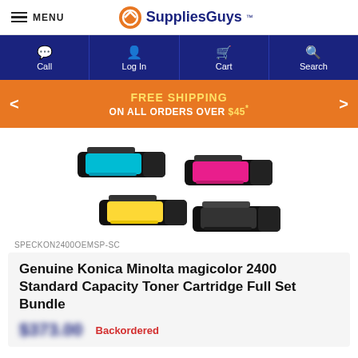MENU | SuppliesGuys
Call | Log In | Cart | Search
FREE SHIPPING ON ALL ORDERS OVER $45*
[Figure (photo): Four toner cartridges for Konica Minolta magicolor 2400: cyan (top left), magenta (top right), yellow (bottom left), black (bottom right)]
SPECKON2400OEMSP-SC
Genuine Konica Minolta magicolor 2400 Standard Capacity Toner Cartridge Full Set Bundle
Backordered